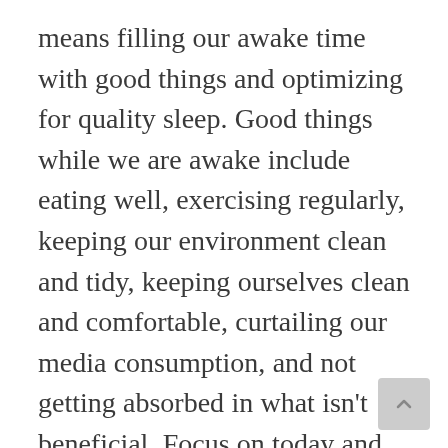means filling our awake time with good things and optimizing for quality sleep. Good things while we are awake include eating well, exercising regularly, keeping our environment clean and tidy, keeping ourselves clean and comfortable, curtailing our media consumption, and not getting absorbed in what isn't beneficial. Focus on today and less on the worries of tomorrow or regrets of yesterday (see Matt. 6:34). Give time and space to your thoughts and your feelings. Let them inform you on what's going on inside you, but don't let them rule you. Simply do more of what makes you feel